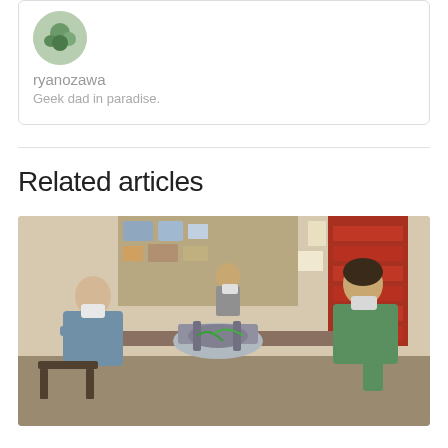ryanozawa
Geek dad in paradise.
Related articles
[Figure (photo): Two men wearing face masks working on a mechanical device in a workshop/classroom setting. One older man sits on the left in a blue shirt, another younger man in a green shirt works on the right. A metal mechanical assembly is on the table between them. Background shows shelves with supplies and a red tool cabinet.]